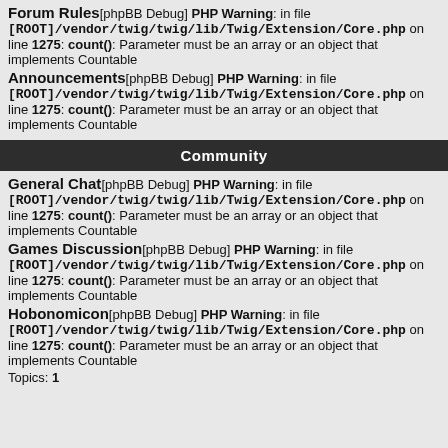Forum Rules[phpBB Debug] PHP Warning: in file [ROOT]/vendor/twig/twig/lib/Twig/Extension/Core.php on line 1275: count(): Parameter must be an array or an object that implements Countable
Announcements[phpBB Debug] PHP Warning: in file [ROOT]/vendor/twig/twig/lib/Twig/Extension/Core.php on line 1275: count(): Parameter must be an array or an object that implements Countable
Community
General Chat[phpBB Debug] PHP Warning: in file [ROOT]/vendor/twig/twig/lib/Twig/Extension/Core.php on line 1275: count(): Parameter must be an array or an object that implements Countable
Games Discussion[phpBB Debug] PHP Warning: in file [ROOT]/vendor/twig/twig/lib/Twig/Extension/Core.php on line 1275: count(): Parameter must be an array or an object that implements Countable
Hobonomicon[phpBB Debug] PHP Warning: in file [ROOT]/vendor/twig/twig/lib/Twig/Extension/Core.php on line 1275: count(): Parameter must be an array or an object that implements Countable
Topics: 1